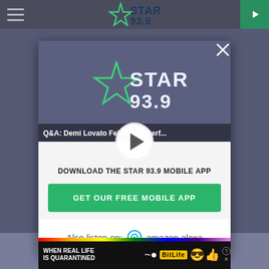[Figure (screenshot): Star 93.9 radio website screenshot with mobile app download modal overlay. The modal shows the Star 93.9 logo, a video thumbnail with text 'Q&A: Demi Lovato Felt Stale Perf...', a play button, text 'DOWNLOAD THE STAR 93.9 MOBILE APP', a green CTA button 'GET OUR FREE MOBILE APP', and 'Also listen on: amazon alexa'. A BitLife ad banner appears at the bottom.]
Q&A: Demi Lovato Felt ‘Stale’ Perf...
DOWNLOAD THE STAR 93.9 MOBILE APP
GET OUR FREE MOBILE APP
Also listen on:  amazon alexa
So if y
WHEN REAL LIFE IS QUARANTINED